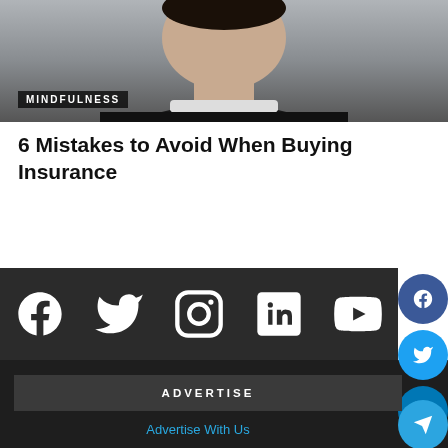[Figure (photo): Portrait photo of a man in a dark suit with white collar/shirt, gray background. Label 'MINDFULNESS' overlaid in bottom-left of image.]
6 Mistakes to Avoid When Buying Insurance
[Figure (infographic): Dark social media bar with white icons for Facebook, Twitter, Instagram, LinkedIn, and YouTube. Floating circular social share buttons on the right side (Facebook blue, Twitter blue, LinkedIn blue, Telegram blue).]
ADVERTISE
Advertise With Us